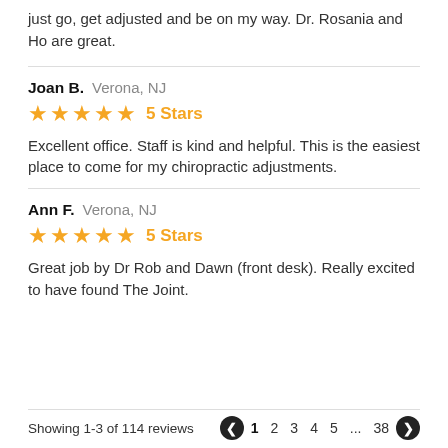just go, get adjusted and be on my way. Dr. Rosania and Ho are great.
Joan B.  Verona, NJ
5 Stars
Excellent office. Staff is kind and helpful. This is the easiest place to come for my chiropractic adjustments.
Ann F.  Verona, NJ
5 Stars
Great job by Dr Rob and Dawn (front desk). Really excited to have found The Joint.
Showing 1-3 of 114 reviews   1 2 3 4 5 ... 38